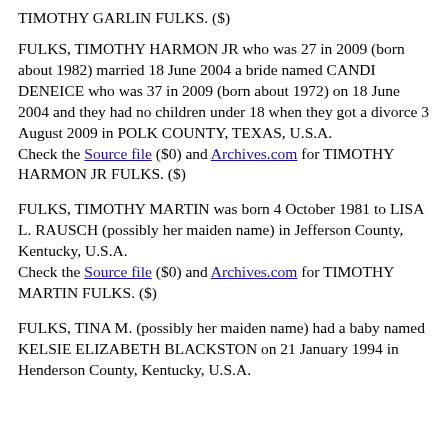TIMOTHY GARLIN FULKS. ($)
FULKS, TIMOTHY HARMON JR who was 27 in 2009 (born about 1982) married 18 June 2004 a bride named CANDI DENEICE who was 37 in 2009 (born about 1972) on 18 June 2004 and they had no children under 18 when they got a divorce 3 August 2009 in POLK COUNTY, TEXAS, U.S.A.
Check the Source file ($0) and Archives.com for TIMOTHY HARMON JR FULKS. ($)
FULKS, TIMOTHY MARTIN was born 4 October 1981 to LISA L. RAUSCH (possibly her maiden name) in Jefferson County, Kentucky, U.S.A.
Check the Source file ($0) and Archives.com for TIMOTHY MARTIN FULKS. ($)
FULKS, TINA M. (possibly her maiden name) had a baby named KELSIE ELIZABETH BLACKSTON on 21 January 1994 in Henderson County, Kentucky, U.S.A.